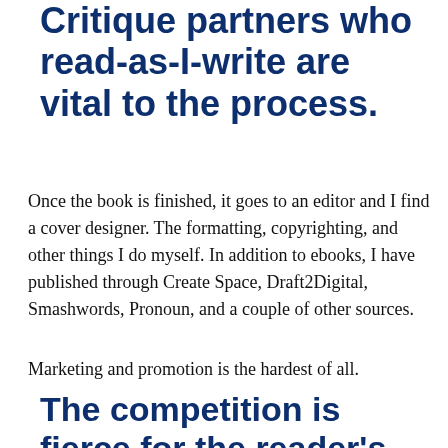Critique partners who read-as-I-write are vital to the process.
Once the book is finished, it goes to an editor and I find a cover designer. The formatting, copyrighting, and other things I do myself. In addition to ebooks, I have published through Create Space, Draft2Digital, Smashwords, Pronoun, and a couple of other sources.
Marketing and promotion is the hardest of all.
The competition is fierce for the reader's attention